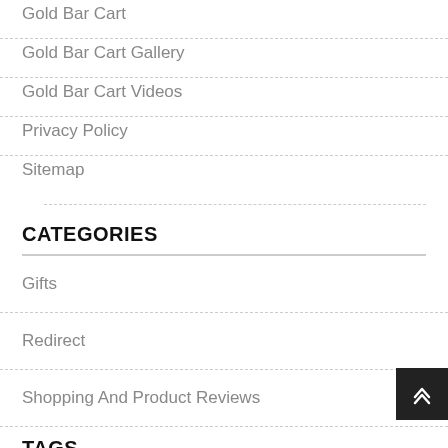Gold Bar Cart
Gold Bar Cart Gallery
Gold Bar Cart Videos
Privacy Policy
Sitemap
CATEGORIES
Gifts
Redirect
Shopping And Product Reviews
TAGS